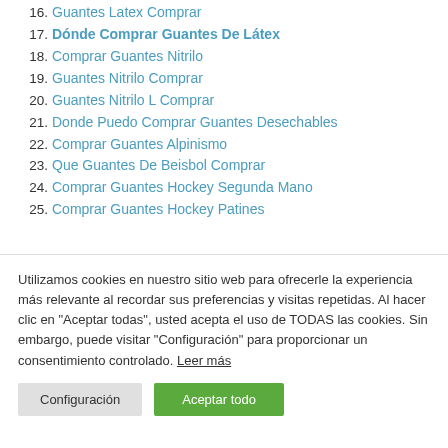16. Guantes Latex Comprar
17. Dónde Comprar Guantes De Látex
18. Comprar Guantes Nitrilo
19. Guantes Nitrilo Comprar
20. Guantes Nitrilo L Comprar
21. Donde Puedo Comprar Guantes Desechables
22. Comprar Guantes Alpinismo
23. Que Guantes De Beisbol Comprar
24. Comprar Guantes Hockey Segunda Mano
25. Comprar Guantes Hockey Patines
Utilizamos cookies en nuestro sitio web para ofrecerle la experiencia más relevante al recordar sus preferencias y visitas repetidas. Al hacer clic en "Aceptar todas", usted acepta el uso de TODAS las cookies. Sin embargo, puede visitar "Configuración" para proporcionar un consentimiento controlado. Leer más
Configuración | Aceptar todo